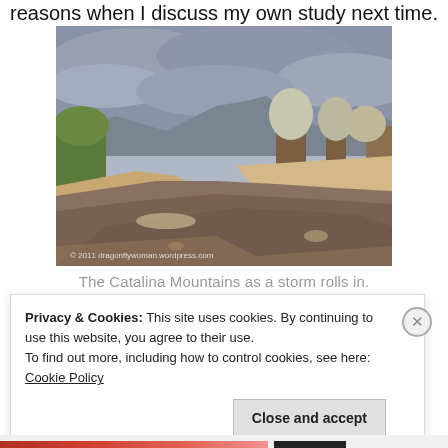reasons when I discuss my own study next time.
[Figure (photo): A photo of the Catalina Mountains with a storm rolling in. A shallow, muddy river or stream runs through the foreground. Rocky and sandy banks are visible, with desert shrubs and trees on either side. Mountains are in the background under a cloudy sky. Watermark reads '© 2011 dragonflywoman.wordpress.com'.]
The Catalina Mountains as a storm rolls in.
Privacy & Cookies: This site uses cookies. By continuing to use this website, you agree to their use.
To find out more, including how to control cookies, see here: Cookie Policy
Close and accept